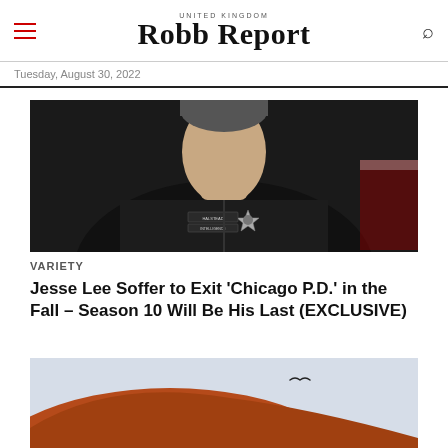UNITED KINGDOM Robb Report
Tuesday, August 30, 2022
[Figure (photo): A person wearing a dark police uniform with a badge and name tag reading HALSTEAD INTELLIGENCE, photographed from mid-chest up]
VARIETY
Jesse Lee Soffer to Exit 'Chicago P.D.' in the Fall – Season 10 Will Be His Last (EXCLUSIVE)
[Figure (photo): Close-up of a large red/orange rock formation with a bird flying in the sky above it]